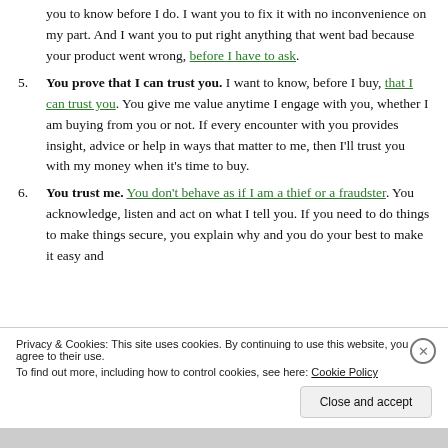you to know before I do. I want you to fix it with no inconvenience on my part. And I want you to put right anything that went bad because your product went wrong, before I have to ask.
5. You prove that I can trust you. I want to know, before I buy, that I can trust you. You give me value anytime I engage with you, whether I am buying from you or not. If every encounter with you provides insight, advice or help in ways that matter to me, then I'll trust you with my money when it's time to buy.
6. You trust me. You don't behave as if I am a thief or a fraudster. You acknowledge, listen and act on what I tell you. If you need to do things to make things secure, you explain why and you do your best to make it easy and
Privacy & Cookies: This site uses cookies. By continuing to use this website, you agree to their use.
To find out more, including how to control cookies, see here: Cookie Policy
Close and accept